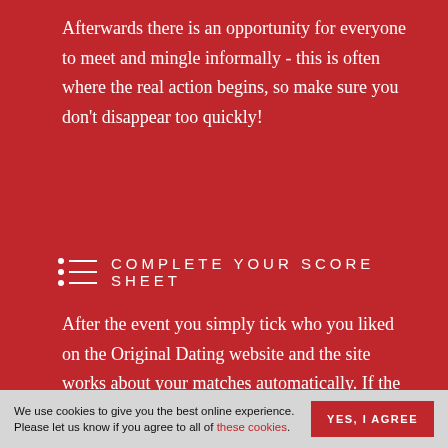Afterwards there is an opportunity for everyone to meet and mingle informally - this is often where the real action begins, so make sure you don't disappear too quickly!
COMPLETE YOUR SCORE SHEET
After the event you simply tick who you liked on the Original Dating website and the site works about your matches automatically. If the dates you have ticked as a "yes" have reciprocated you have a match. You will be able to view the first names and message them via our site online without revealing your email address until you are ready to. You'll be having proper first
We use cookies to give you the best online experience. Please let us know if you agree to all of these cookies.